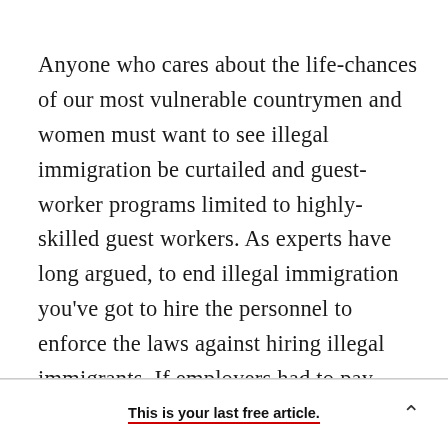Anyone who cares about the life-chances of our most vulnerable countrymen and women must want to see illegal immigration be curtailed and guest-worker programs limited to highly-skilled guest workers. As experts have long argued, to end illegal immigration you've got to hire the personnel to enforce the laws against hiring illegal immigrants. If employers had to pay millions in fines, they would stop hiring illegals. Word would get back to Mexico: There are few jobs available in [the U.S. Illegal immigrants cannot...]
This is your last free article.